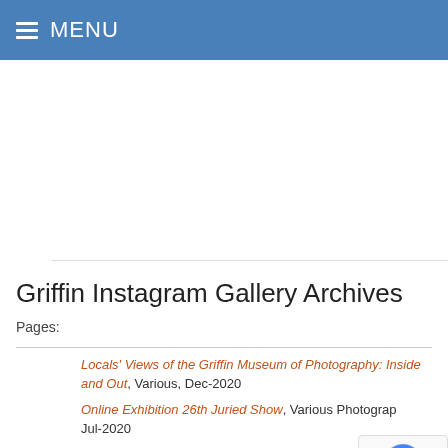MENU
[Figure (other): Advertisement or empty content area placeholder]
Griffin Instagram Gallery Archives
Pages:
Locals' Views of the Griffin Museum of Photography: Inside and Out, Various, Dec-2020
Online Exhibition 26th Juried Show, Various Photographers, Jul-2020
Corona: It's All About the Light, 160 Various Photographers